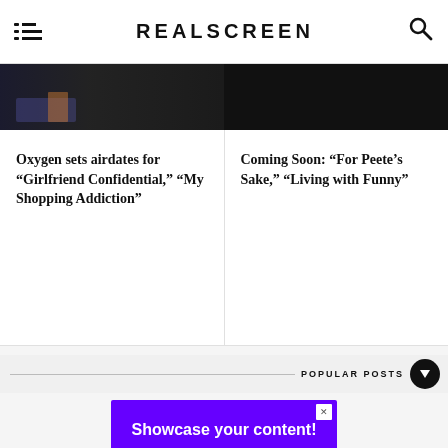REALSCREEN
[Figure (photo): Two-panel image strip: left panel shows figures on a stage with colorful lighting; right panel is dark/black background]
Oxygen sets airdates for “Girlfriend Confidential,” “My Shopping Addiction”
Coming Soon: “For Peete’s Sake,” “Living with Funny”
POPULAR POSTS
[Figure (infographic): Purple advertisement banner reading 'Showcase your content!' with 'Contact' text below, with a close button (X)]